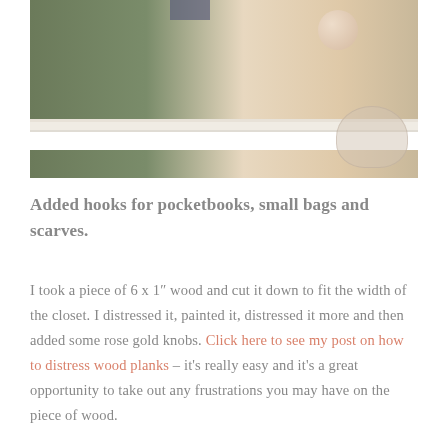[Figure (photo): Photo of a closet interior showing green cabinet doors and a light-colored countertop ledge with a decorative ball and bowl on top]
Added hooks for pocketbooks, small bags and scarves.
I took a piece of 6 x 1″ wood and cut it down to fit the width of the closet. I distressed it, painted it, distressed it more and then added some rose gold knobs. Click here to see my post on how to distress wood planks – it's really easy and it's a great opportunity to take out any frustrations you may have on the piece of wood.